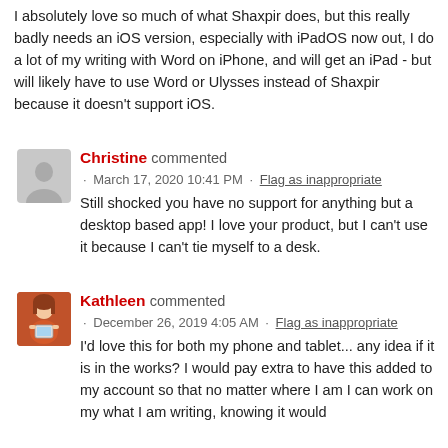I absolutely love so much of what Shaxpir does, but this really badly needs an iOS version, especially with iPadOS now out, I do a lot of my writing with Word on iPhone, and will get an iPad - but will likely have to use Word or Ulysses instead of Shaxpir because it doesn't support iOS.
Christine commented · March 17, 2020 10:41 PM · Flag as inappropriate
Still shocked you have no support for anything but a desktop based app! I love your product, but I can't use it because I can't tie myself to a desk.
Kathleen commented · December 26, 2019 4:05 AM · Flag as inappropriate
I'd love this for both my phone and tablet... any idea if it is in the works? I would pay extra to have this added to my account so that no matter where I am I can work on my what I am writing, knowing it would